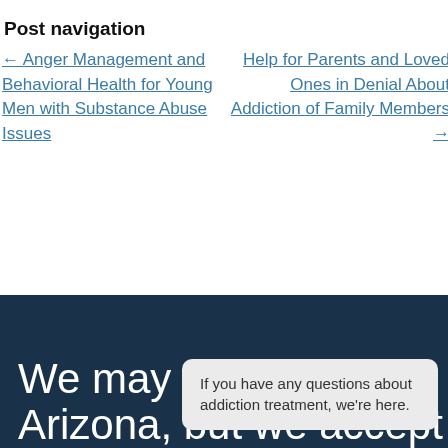Post navigation
← Anger Management and Behavioral Health for Young Men with Substance Abuse Issues
Help for Parents and Loved Ones in Denial About Addiction of Family Members →
We may be located in Arizona, but we accept
If you have any questions about addiction treatment, we're here.